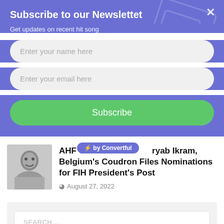Subscribe to our Newslettet
Get updates on recent hit song
Enter your name here
Enter your email here
Subscribe
[Figure (photo): Black and white portrait photo of a man]
AHF Ch... by Convertful ...ryab Ikram, Belgium's Coudron Files Nominations for FIH President's Post
August 27, 2022
SEARCH ...